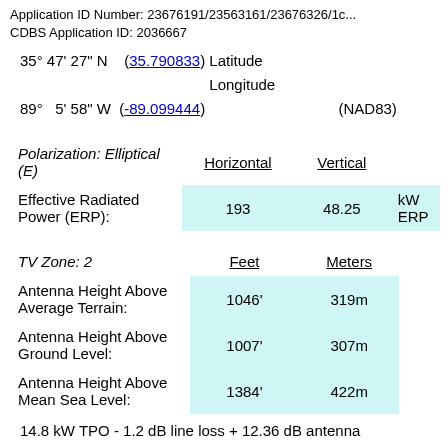Application ID Number: 23676191/23563161/23676326/1c... CDBS Application ID: 2036667
35° 47' 27" N   (35.790833) Latitude
89°  5' 58" W (-89.099444) Longitude (NAD83)
|  | Horizontal | Vertical |  |
| --- | --- | --- | --- |
| Polarization: Elliptical (E) | Horizontal | Vertical |  |
| Effective Radiated Power (ERP): | 193 | 48.25 | kW ERP |
|  | Feet | Meters |
| --- | --- | --- |
| TV Zone: 2 | Feet | Meters |
| Antenna Height Above Average Terrain: | 1046' | 319m |
| Antenna Height Above Ground Level: | 1007' | 307m |
| Antenna Height Above Mean Sea Level: | 1384' | 422m |
14.8 kW TPO - 1.2 dB line loss + 12.36 dB antenna gain = 193 kW ERP
11.7 dBk TPO - 1.2 dB line loss + 12.36 dB antenna